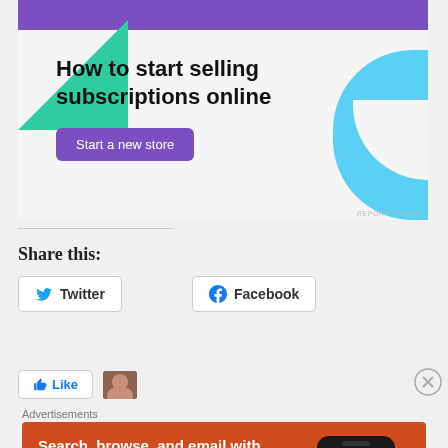[Figure (illustration): Advertisement banner for an e-commerce platform showing 'How to start selling subscriptions online' with a purple button 'Start a new store', green triangle shape, blue curved shape, on light gray background]
Share this:
[Figure (illustration): Twitter share button with bird icon]
[Figure (illustration): Facebook share button with f icon]
[Figure (illustration): Facebook Like button and user avatar thumbnails]
[Figure (advertisement): DuckDuckGo advertisement on orange/red background: 'Search, browse, and email with more privacy. All in One Free App' with phone mockup showing DuckDuckGo logo]
Advertisements